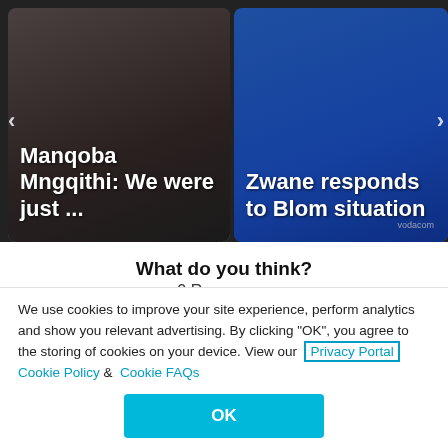[Figure (screenshot): Two news article thumbnails in a carousel. Left: dark image of a person, text 'Manqoba Mngqithi: We were just ...' Right: blue image of sports player, text 'Zwane responds to Blom situation']
What do you think?
0 Responses
[Figure (infographic): Row of six reaction emojis: thumbs up, laughing face with tongue, heart eyes face, surprised face, sad face with tissue, crying face with tear]
We use cookies to improve your site experience, perform analytics and show you relevant advertising. By clicking “OK”, you agree to the storing of cookies on your device. View our Privacy Portal  Cookie Policy &  Cookie FAQs
OK